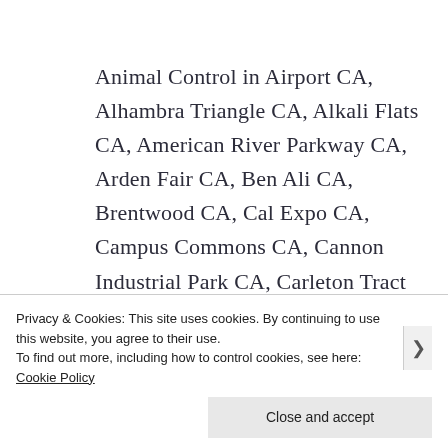Animal Control in Airport CA, Alhambra Triangle CA, Alkali Flats CA, American River Parkway CA, Arden Fair CA, Ben Ali CA, Brentwood CA, Cal Expo CA, Campus Commons CA, Cannon Industrial Park CA, Carleton Tract
Privacy & Cookies: This site uses cookies. By continuing to use this website, you agree to their use.
To find out more, including how to control cookies, see here: Cookie Policy